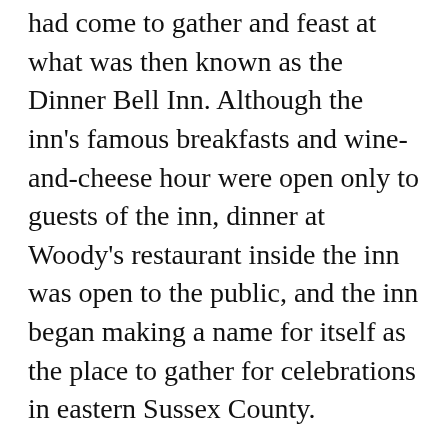had come to gather and feast at what was then known as the Dinner Bell Inn. Although the inn's famous breakfasts and wine-and-cheese hour were open only to guests of the inn, dinner at Woody's restaurant inside the inn was open to the public, and the inn began making a name for itself as the place to gather for celebrations in eastern Sussex County.
In 1999, a Rehoboth local family, the Moores, fell in love with the iconic property and purchased the inn, transforming this historic space into a luxury boutique hotel with 78 rooms and suites and more than 3,000 square feet of elegant meeting space. Under the new